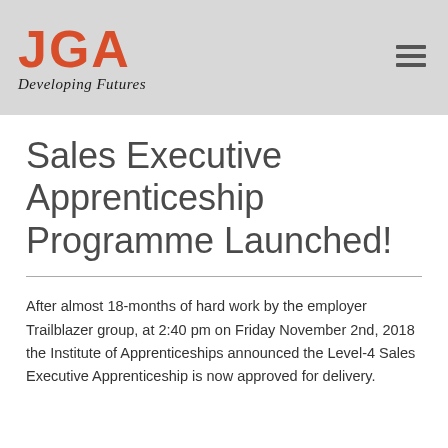JGA Developing Futures
Sales Executive Apprenticeship Programme Launched!
After almost 18-months of hard work by the employer Trailblazer group, at 2:40 pm on Friday November 2nd, 2018 the Institute of Apprenticeships announced the Level-4 Sales Executive Apprenticeship is now approved for delivery.